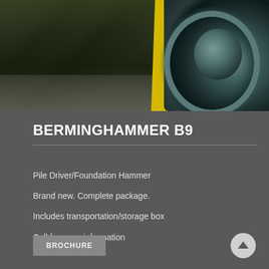[Figure (photo): Close-up photo of Berminghammer B9 pile driver/foundation hammer equipment showing machinery undercarriage with yellow strap/cable, dark metal components, gravel ground, and a large tire on the right side with blue-green reflective rim.]
BERMINGHAMMER B9
Pile Driver/Foundation Hammer
Brand new. Complete package.
Includes transportation/storage box
Call for more information